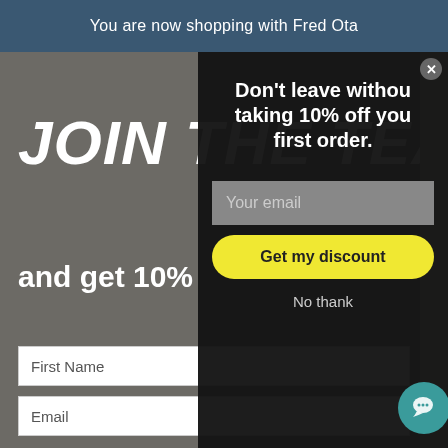You are now shopping with Fred Ota
[Figure (screenshot): E-commerce website screenshot showing a 'Join the Team' signup popup on the left and a dark modal popup on the right saying 'Don't leave without taking 10% off your first order.' with an email input and 'Get my discount' button. Background shows a woman in a blue outfit.]
JOIN THE TEAM
and get 10%
First Name
Email
G
Don't leave without taking 10% off your first order.
Your email
Get my discount
No thank